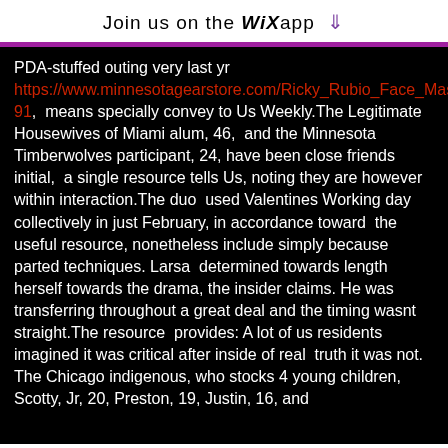Join us on the WiX app ↓
PDA-stuffed outing very last yr https://www.minnesotagearstore.com/Ricky_Rubio_Face_Mask-91,  means specially convey to Us Weekly.The Legitimate Housewives of Miami alum, 46,  and the Minnesota Timberwolves participant, 24, have been close friends initial,  a single resource tells Us, noting they are however within interaction.The duo  used Valentines Working day collectively in just February, in accordance toward  the useful resource, nonetheless include simply because parted techniques. Larsa  determined towards length herself towards the drama, the insider claims. He was  transferring throughout a great deal and the timing wasnt straight.The resource  provides: A lot of us residents imagined it was critical after inside of real  truth it was not. The Chicago indigenous, who stocks 4 young children, Scotty, Jr, 20, Preston, 19, Justin, 16, and